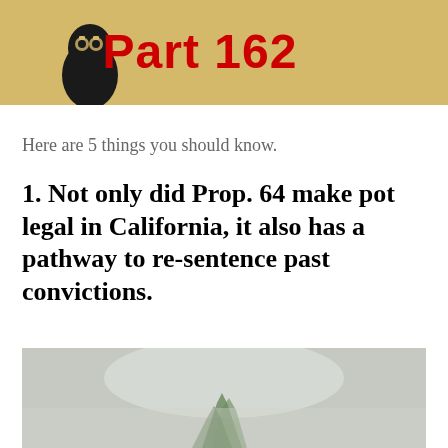[Figure (illustration): Banner image with a golden/tan background showing a silhouette of a head with gear icons, and red bold text reading 'Part 162']
Here are 5 things you should know.
1. Not only did Prop. 64 make pot legal in California, it also has a pathway to re-sentence past convictions.
[Figure (photo): Photo of what appears to be a marijuana plant, partially cropped, with a light blurred background]